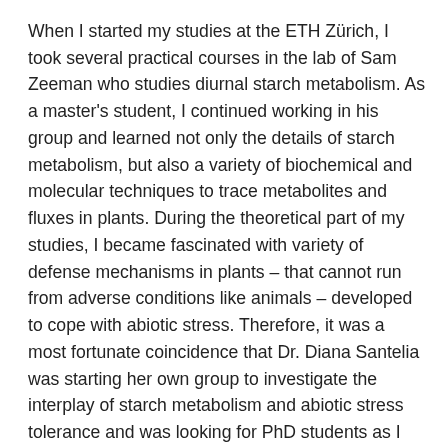When I started my studies at the ETH Zürich, I took several practical courses in the lab of Sam Zeeman who studies diurnal starch metabolism. As a master's student, I continued working in his group and learned not only the details of starch metabolism, but also a variety of biochemical and molecular techniques to trace metabolites and fluxes in plants. During the theoretical part of my studies, I became fascinated with variety of defense mechanisms in plants – that cannot run from adverse conditions like animals – developed to cope with abiotic stress. Therefore, it was a most fortunate coincidence that Dr. Diana Santelia was starting her own group to investigate the interplay of starch metabolism and abiotic stress tolerance and was looking for PhD students as I finished my master's degree.